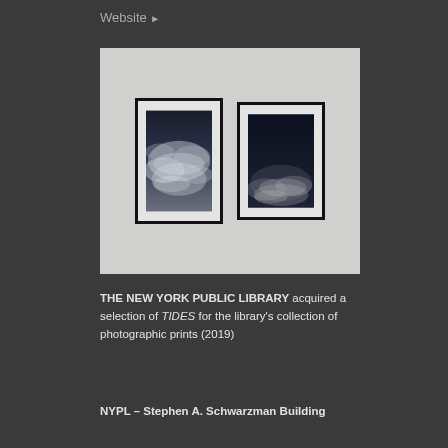Website ▶
[Figure (photo): Two framed photographic prints hanging on a white wall. Both show dark, moody sky/cloud compositions in black and white tones. The left frame is slightly taller and shows swirling light clouds against a dark sky. The right frame shows darker sky with lighter wispy elements in the lower portion.]
THE NEW YORK PUBLIC LIBRARY acquired a selection of TIDES for the library's collection of photographic prints (2019)
NYPL – Stephen A. Schwarzman Building